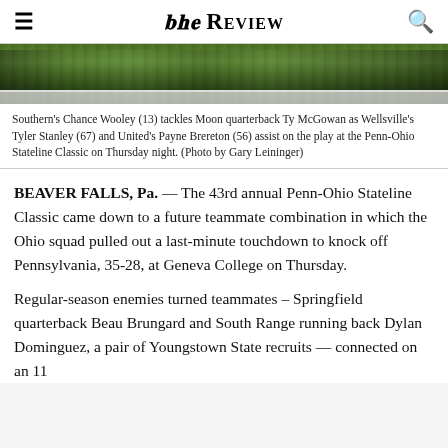The Review
[Figure (photo): Football action photo showing players tackling at the Penn-Ohio Stateline Classic game on a green field.]
Southern's Chance Wooley (13) tackles Moon quarterback Ty McGowan as Wellsville's Tyler Stanley (67) and United's Payne Brereton (56) assist on the play at the Penn-Ohio Stateline Classic on Thursday night. (Photo by Gary Leininger)
BEAVER FALLS, Pa. — The 43rd annual Penn-Ohio Stateline Classic came down to a future teammate combination in which the Ohio squad pulled out a last-minute touchdown to knock off Pennsylvania, 35-28, at Geneva College on Thursday.
Regular-season enemies turned teammates – Springfield quarterback Beau Brungard and South Range running back Dylan Dominguez, a pair of Youngstown State recruits — connected on an 11